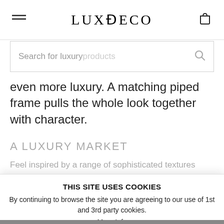LUXDECO
[Figure (screenshot): Search bar with placeholder text 'Search for luxury products' and a search icon]
even more luxury. A matching piped frame pulls the whole look together with character.
A LUXURY MARKET
Feel inspired by a range of sophisticated textures
LEARN MORE
THIS SITE USES COOKIES
By continuing to browse the site you are agreeing to our use of 1st and 3rd party cookies.
More Info
I AGREE